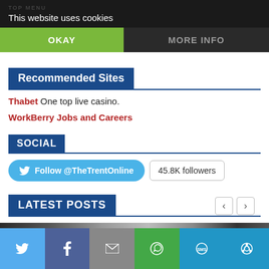This website uses cookies
OKAY
MORE INFO
Recommended Sites
Thabet One top live casino.
WorkBerry Jobs and Careers
SOCIAL
Follow @TheTrentOnline   45.8K followers
LATEST POSTS
[Figure (photo): Partial photo strip at bottom of page]
Twitter | Facebook | Email | WhatsApp | SMS | Share